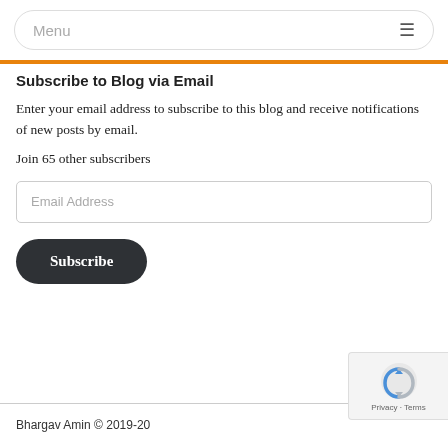Menu
Subscribe to Blog via Email
Enter your email address to subscribe to this blog and receive notifications of new posts by email.
Join 65 other subscribers
Email Address
Subscribe
Bhargav Amin © 2019-20